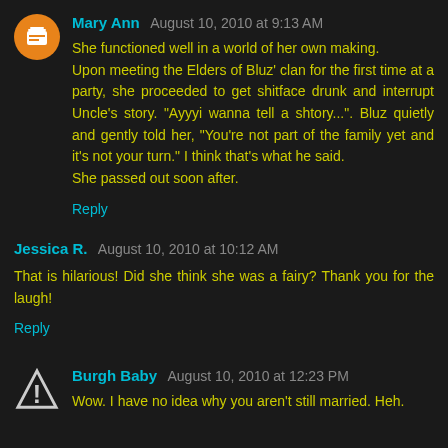Mary Ann August 10, 2010 at 9:13 AM
She functioned well in a world of her own making. Upon meeting the Elders of Bluz' clan for the first time at a party, she proceeded to get shitface drunk and interrupt Uncle's story. "Ayyyi wanna tell a shtory...". Bluz quietly and gently told her, "You're not part of the family yet and it's not your turn." I think that's what he said.
She passed out soon after.
Reply
Jessica R. August 10, 2010 at 10:12 AM
That is hilarious! Did she think she was a fairy? Thank you for the laugh!
Reply
Burgh Baby August 10, 2010 at 12:23 PM
Wow. I have no idea why you aren't still married. Heh.